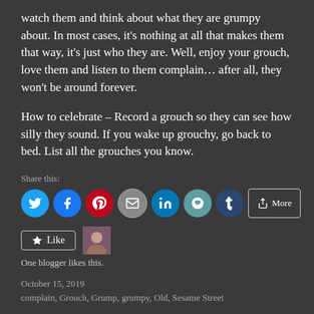watch them and think about what they are grumpy about. In most cases, it's nothing at all that makes them that way, it's just who they are. Well, enjoy your grouch, love them and listen to them complain… after all, they won't be around forever.
How to celebrate – Record a grouch so they can see how silly they sound. If you wake up grouchy, go back to bed. List all the grouches you know.
Share this:
[Figure (screenshot): Social sharing buttons: Twitter, Facebook, Pinterest, Email, LinkedIn, Reddit, Tumblr, More]
[Figure (screenshot): Like button with star icon and blogger avatar thumbnail]
One blogger likes this.
October 15, 2019
complain, Grouch, Grump, grumpy, Old, Sesame Street